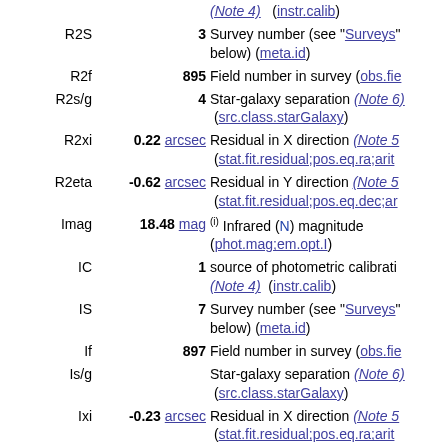| Label | Value | Description |
| --- | --- | --- |
|  |  | (Note 4)   (instr.calib) |
| R2S | 3 | Survey number (see "Surveys" below) (meta.id) |
| R2f | 895 | Field number in survey (obs.fie...) |
| R2s/g | 4 | Star-galaxy separation (Note 6) (src.class.starGalaxy) |
| R2xi | 0.22 arcsec | Residual in X direction (Note 5) (stat.fit.residual;pos.eq.ra;arit...) |
| R2eta | -0.62 arcsec | Residual in Y direction (Note 5) (stat.fit.residual;pos.eq.dec;ar...) |
| Imag | 18.48 mag | (i) Infrared (N) magnitude (phot.mag;em.opt.I) |
| IC | 1 | source of photometric calibration (Note 4)  (instr.calib) |
| IS | 7 | Survey number (see "Surveys" below) (meta.id) |
| If | 897 | Field number in survey (obs.fie...) |
| Is/g |  | Star-galaxy separation (Note 6) (src.class.starGalaxy) |
| Ixi | -0.23 arcsec | Residual in X direction (Note 5) (stat.fit.residual;pos.eq.ra;arit...) |
| Ieta | 0.61 arcsec | Residual in Y direction (Note 5) |